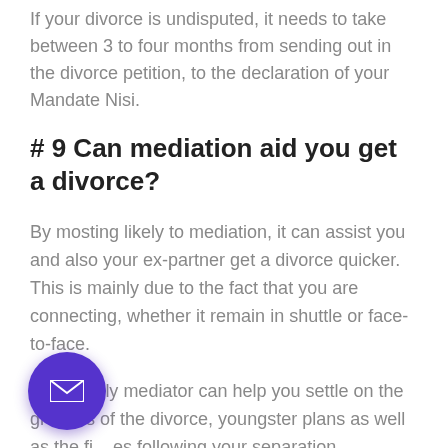If your divorce is undisputed, it needs to take between 3 to four months from sending out in the divorce petition, to the declaration of your Mandate Nisi.
# 9 Can mediation aid you get a divorce?
By mosting likely to mediation, it can assist you and also your ex-partner get a divorce quicker. This is mainly due to the fact that you are connecting, whether it remain in shuttle or face-to-face.
Your family mediator can help you settle on the grounds of the divorce, youngster plans as well as the finances following your separation.
mediator will always suggest that you both have independent legal advice from a certified individual. A
[Figure (other): Purple circular email button with white envelope icon]